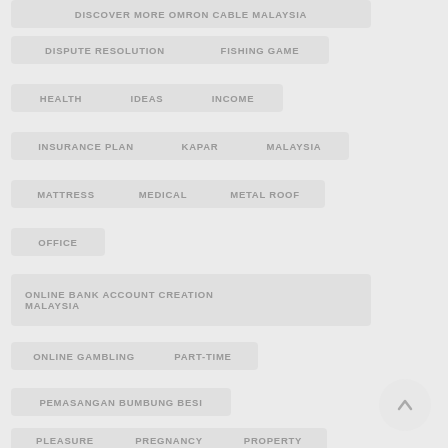DISCOVER MORE OMRON CABLE MALAYSIA
DISPUTE RESOLUTION
FISHING GAME
HEALTH
IDEAS
INCOME
INSURANCE PLAN
KAPAR
MALAYSIA
MATTRESS
MEDICAL
METAL ROOF
OFFICE
ONLINE BANK ACCOUNT CREATION MALAYSIA
ONLINE GAMBLING
PART-TIME
PEMASANGAN BUMBUNG BESI
PLEASURE
PREGNANCY
PROPERTY